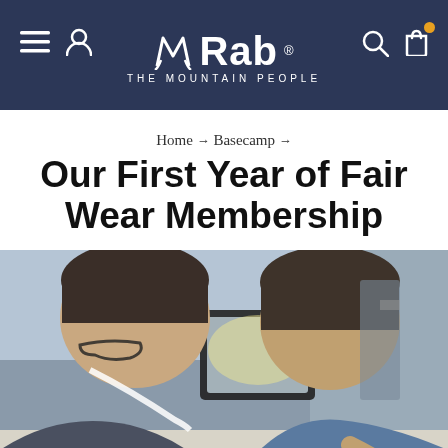Rab - THE MOUNTAIN PEOPLE
Home > Basecamp >
Our First Year of Fair Wear Membership
[Figure (photo): Two people bending over a sewing machine, viewed from above. The person on the left wears glasses and has a measuring tape around their neck; the person on the right wears a blue shirt. A lit screen/monitor is between them on the machine.]